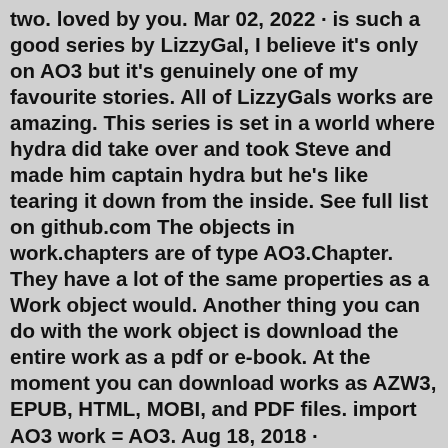two. loved by you. Mar 02, 2022 · is such a good series by LizzyGal, I believe it's only on AO3 but it's genuinely one of my favourite stories. All of LizzyGals works are amazing. This series is set in a world where hydra did take over and took Steve and made him captain hydra but he's like tearing it down from the inside. See full list on github.com The objects in work.chapters are of type AO3.Chapter. They have a lot of the same properties as a Work object would. Another thing you can do with the work object is download the entire work as a pdf or e-book. At the moment you can download works as AZW3, EPUB, HTML, MOBI, and PDF files. import AO3 work = AO3. Aug 18, 2018 · onlinefreetv. Aug 18th, 2018. 96. Never. Not a member of Pastebin yet? Sign Up , it unlocks many cool features! text 0.49 KB | None. See full list on github.com With an AO3 account, you can: Share your own fanworks; Get notified when your favorite works, series, or users update; Participate in challenges; Keep track of works you've visited and works you want to check out later96 Gb members in